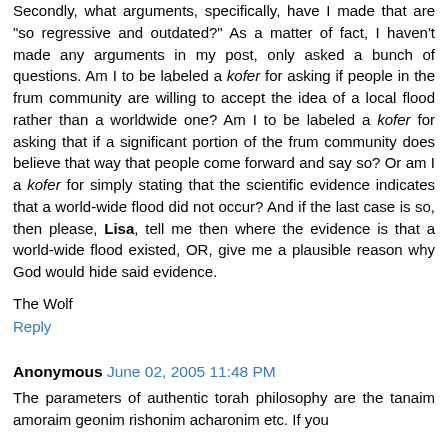Secondly, what arguments, specifically, have I made that are "so regressive and outdated?" As a matter of fact, I haven't made any arguments in my post, only asked a bunch of questions. Am I to be labeled a kofer for asking if people in the frum community are willing to accept the idea of a local flood rather than a worldwide one? Am I to be labeled a kofer for asking that if a significant portion of the frum community does believe that way that people come forward and say so? Or am I a kofer for simply stating that the scientific evidence indicates that a world-wide flood did not occur? And if the last case is so, then please, Lisa, tell me then where the evidence is that a world-wide flood existed, OR, give me a plausible reason why God would hide said evidence.
The Wolf
Reply
Anonymous June 02, 2005 11:48 PM
The parameters of authentic torah philosophy are the tanaim amoraim geonim rishonim acharonim etc. If you